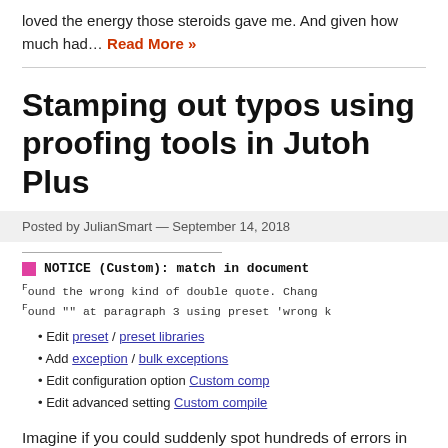loved the energy those steroids gave me. And given how much had… Read More »
Stamping out typos using proofing tools in Jutoh Plus
Posted by JulianSmart — September 14, 2018
NOTICE (Custom): match in document
Found the wrong kind of double quote. Chang
Found "" at paragraph 3 using preset 'wrong k
Edit preset / preset libraries
Add exception / bulk exceptions
Edit configuration option Custom comp
Edit advanced setting Custom compile
Imagine if you could suddenly spot hundreds of errors in your books that were missed by human editors! However wonderful your book is, if you have more than a small number of typos… Read More »